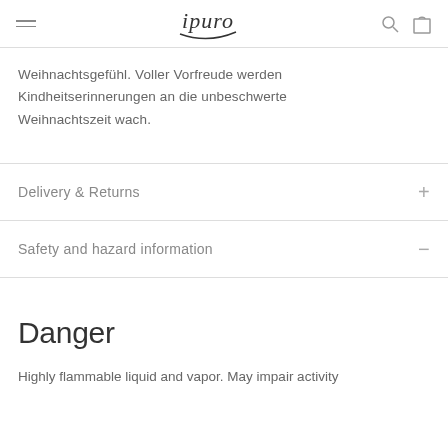ipuro
Weihnachtsgefühl. Voller Vorfreude werden Kindheitserinnerungen an die unbeschwerte Weihnachtszeit wach.
Delivery & Returns
Safety and hazard information
Danger
Highly flammable liquid and vapor. May impair activity